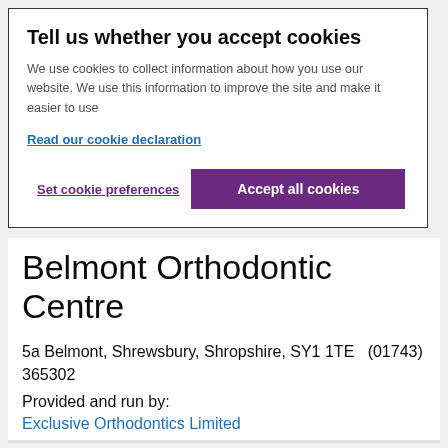Tell us whether you accept cookies
We use cookies to collect information about how you use our website. We use this information to improve the site and make it easier to use
Read our cookie declaration
Set cookie preferences
Accept all cookies
Belmont Orthodontic Centre
5a Belmont, Shrewsbury, Shropshire, SY1 1TE   (01743) 365302
Provided and run by:
Exclusive Orthodontics Limited